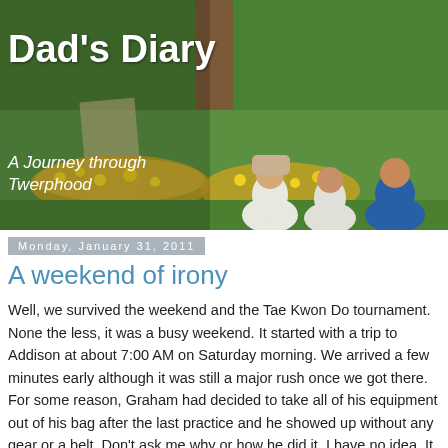[Figure (photo): Outdoor garden/park scene with three children sitting with their backs to the camera near a tree, surrounded by yellow daffodil flowers and green grass and bushes. Text overlay reads 'Dad's Diary' and 'A Journey through Twerphood'.]
Dad's Diary
A Journey through Twerphood
Monday, January 31, 2011
A weekend of irony
Well, we survived the weekend and the Tae Kwon Do tournament. None the less, it was a busy weekend. It started with a trip to Addison at about 7:00 AM on Saturday morning. We arrived a few minutes early although it was still a major rush once we got there. For some reason, Graham had decided to take all of his equipment out of his bag after the last practice and he showed up without any gear or a belt. Don't ask me why or how he did it. I have no idea. It was a